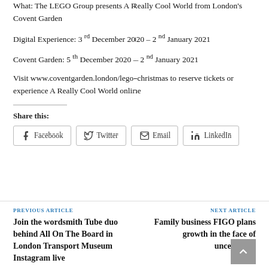What: The LEGO Group presents A Really Cool World from London's Covent Garden
Digital Experience: 3 rd December 2020 – 2 nd January 2021
Covent Garden: 5 th December 2020 – 2 nd January 2021
Visit www.coventgarden.london/lego-christmas to reserve tickets or experience A Really Cool World online
Share this:
Facebook | Twitter | Email | LinkedIn
PREVIOUS ARTICLE
Join the wordsmith Tube duo behind All On The Board in London Transport Museum Instagram live
NEXT ARTICLE
Family business FIGO plans growth in the face of uncertainty